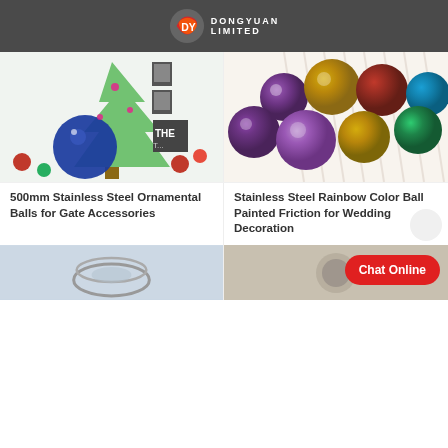DONGYUAN LIMITED
[Figure (photo): Blue stainless steel ornamental ball displayed in front of a Christmas tree with red and green ornaments]
[Figure (photo): Multiple stainless steel rainbow color balls with iridescent purple, gold, and blue finishes on white stick background]
500mm Stainless Steel Ornamental Balls for Gate Accessories
Stainless Steel Rainbow Color Ball Painted Friction for Wedding Decoration
[Figure (photo): Bottom left product photo - steel ring or ball product on grey background]
[Figure (photo): Bottom right product photo - steel ball product on tan background]
Chat Online